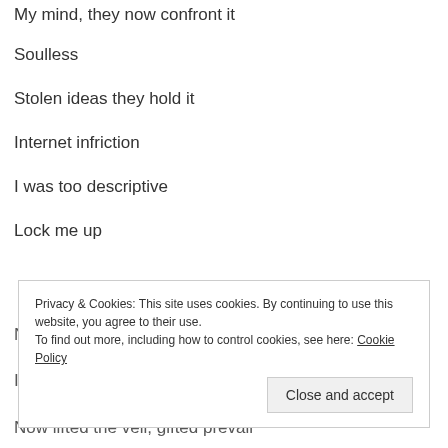My mind, they now confront it
Soulless
Stolen ideas they hold it
Internet infriction
I was too descriptive
Lock me up
Now lifted the veil, gifted prevail
Privacy & Cookies: This site uses cookies. By continuing to use this website, you agree to their use.
To find out more, including how to control cookies, see here: Cookie Policy
Close and accept